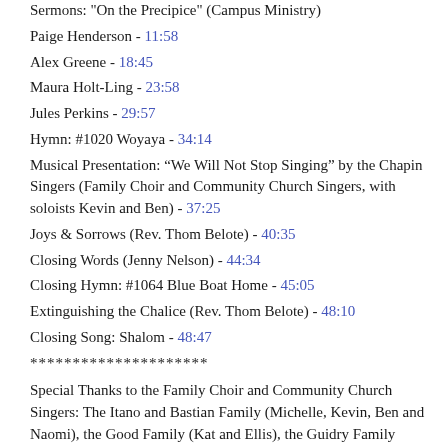Sermons: "On the Precipice" (Campus Ministry)
Paige Henderson - 11:58
Alex Greene - 18:45
Maura Holt-Ling - 23:58
Jules Perkins - 29:57
Hymn: #1020 Woyaya - 34:14
Musical Presentation: “We Will Not Stop Singing” by the Chapin Singers (Family Choir and Community Church Singers, with soloists Kevin and Ben) - 37:25
Joys & Sorrows (Rev. Thom Belote) - 40:35
Closing Words (Jenny Nelson) - 44:34
Closing Hymn: #1064 Blue Boat Home - 45:05
Extinguishing the Chalice (Rev. Thom Belote) - 48:10
Closing Song: Shalom - 48:47
*********************
Special Thanks to the Family Choir and Community Church Singers: The Itano and Bastian Family (Michelle, Kevin, Ben and Naomi), the Good Family (Kat and Ellis), the Guidry Family (Ginger, Lincoln and Velo), Jena Kaizen, Annie Huntly, Joëlle Bourjolly, Ruth Gibson
And thanks for the Community Church Choir: Carol Parker,